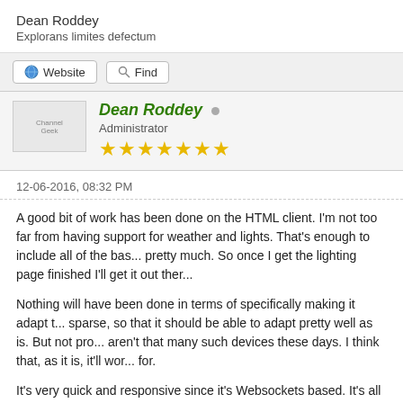Dean Roddey
Explorans limites defectum
[Figure (screenshot): Toolbar with Website and Find buttons]
[Figure (screenshot): User profile section with avatar placeholder, name Dean Roddey in green bold, Administrator role, and 7 gold stars]
12-06-2016, 08:32 PM
A good bit of work has been done on the HTML client. I'm not too far from having support for weather and lights. That's enough to include all of the bas... pretty much. So once I get the lighting page finished I'll get it out ther...
Nothing will have been done in terms of specifically making it adapt t... sparse, so that it should be able to adapt pretty well as is. But not pro... aren't that many such devices these days. I think that, as it is, it'll wor... for.
It's very quick and responsive since it's Websockets based. It's all be... download very quickly and be very light weight, despite being a 'thick...